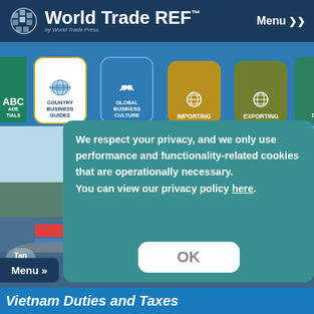World Trade REF™ — Menu
[Figure (screenshot): Navigation bar with icons: Country Business Guides (active/highlighted), Global Business Culture, Importing, Exporting, Trade Documents]
[Figure (photo): Port/harbor with shipping containers, cranes, and waterway. Weather overlay: 24 pm / 97°F. Port label visible.]
We respect your privacy, and we only use performance and functionality-related cookies that are operationally necessary. You can view our privacy policy here.
OK
Menu »
Vietnam Duties and Taxes